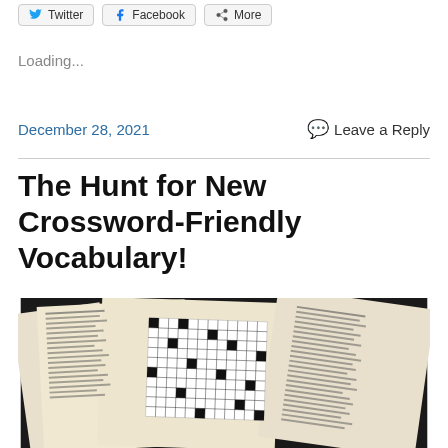Twitter | Facebook | More
Loading...
December 28, 2021   Leave a Reply
The Hunt for New Crossword-Friendly Vocabulary!
[Figure (photo): Stack of newspapers open to crossword puzzle pages, showing printed crossword grids and clues]